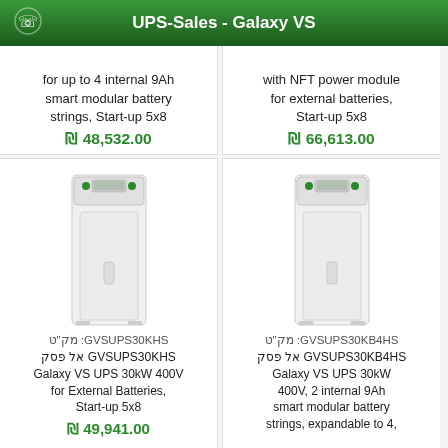UPS-Sales - Galaxy VS
[Figure (photo): Galaxy VS UPS unit product image - left top card (partial)]
for up to 4 internal 9Ah smart modular battery strings, Start-up 5x8
₪ 48,532.00
[Figure (photo): Galaxy VS UPS unit product image - right top card (partial)]
with NFT power module for external batteries, Start-up 5x8
₪ 66,613.00
[Figure (photo): Galaxy VS UPS tower unit - GVSUPS30KHS product]
מק"ט :GVSUPS30KHS
אל פסק GVSUPS30KHS
Galaxy VS UPS 30kW 400V for External Batteries, Start-up 5x8
₪ 49,941.00
[Figure (photo): Galaxy VS UPS tower unit - GVSUPS30KB4HS product]
מק"ט :GVSUPS30KB4HS
אל פסק GVSUPS30KB4HS
Galaxy VS UPS 30kW 400V, 2 internal 9Ah smart modular battery strings, expandable to 4,